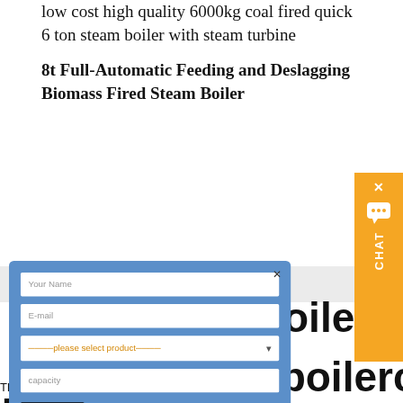low cost high quality 6000kg coal fired quick 6 ton steam boiler with steam turbine
8t Full-Automatic Feeding and Deslagging Biomass Fired Steam Boiler
[Figure (screenshot): Contact form modal with blue background overlaying page content. Fields: Your Name, E-mail, product selector dropdown, capacity. Submit button in black. Close X in top right corner.]
[Figure (screenshot): Orange CHAT sidebar widget on right edge with X close button, speech bubble icon, and vertical CHAT text.]
boiler autoclave
fired CFB Power Plant Boiler in
r CFB Power Plant Boiler in
Thailand chain grate boiler coal fired boiler food plant boiler gas fired boiler horizontal boiler hot water boiler oil